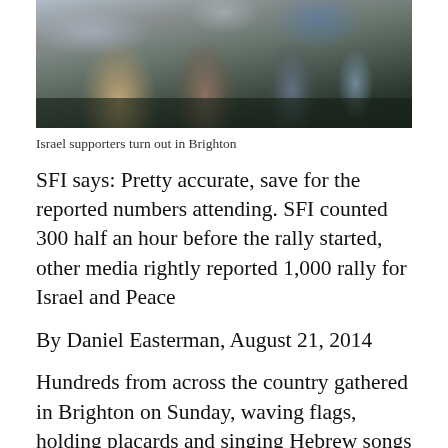[Figure (photo): Crowd of people at an outdoor rally, some holding flags including Israeli flags. Photo is cropped showing people from waist down and torso level.]
Israel supporters turn out in Brighton
SFI says: Pretty accurate, save for the reported numbers attending. SFI counted 300 half an hour before the rally started, other media rightly reported 1,000 rally for Israel and Peace
By Daniel Easterman, August 21, 2014
Hundreds from across the country gathered in Brighton on Sunday, waving flags, holding placards and singing Hebrew songs in a national pro-Israel rally organised by Sussex